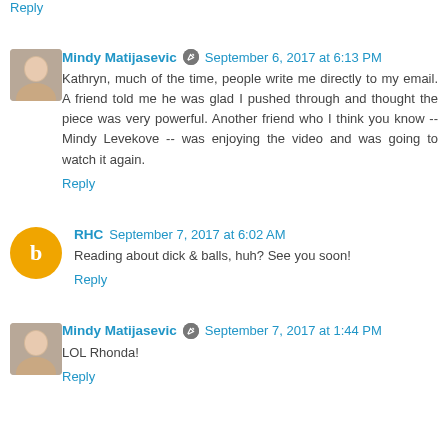Reply
Mindy Matijasevic  September 6, 2017 at 6:13 PM
Kathryn, much of the time, people write me directly to my email. A friend told me he was glad I pushed through and thought the piece was very powerful. Another friend who I think you know -- Mindy Levekove -- was enjoying the video and was going to watch it again.
Reply
RHC  September 7, 2017 at 6:02 AM
Reading about dick & balls, huh? See you soon!
Reply
Mindy Matijasevic  September 7, 2017 at 1:44 PM
LOL Rhonda!
Reply